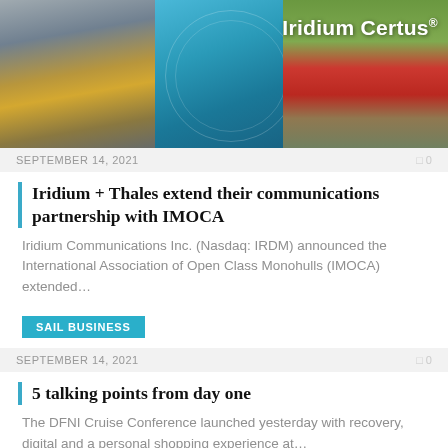[Figure (photo): Iridium Certus banner image showing a mining truck on the left, a globe/satellite network in the center, and a red train on the right. White text reads 'Iridium Certus®' in the top right.]
SEPTEMBER 14, 2021
0
Iridium + Thales extend their communications partnership with IMOCA
Iridium Communications Inc. (Nasdaq: IRDM) announced the International Association of Open Class Monohulls (IMOCA) extended…
SAIL BUSINESS
SEPTEMBER 14, 2021
0
5 talking points from day one
The DFNI Cruise Conference launched yesterday with recovery, digital and a personal shopping experience at…